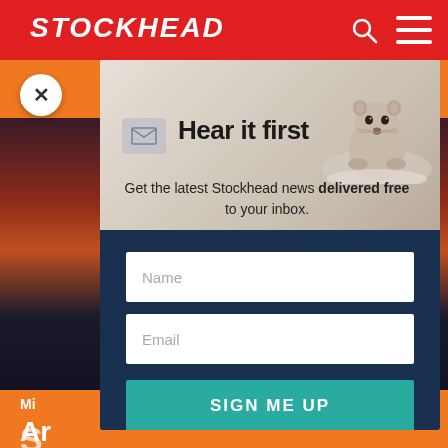STOCKHEAD
Hear it first
Get the latest Stockhead news delivered free to your inbox.
[Figure (screenshot): Newsletter signup modal popup for Stockhead with name and email form fields and a Sign Me Up button, overlaid on a red/orange Stockhead website background with a groundhog image in the modal header.]